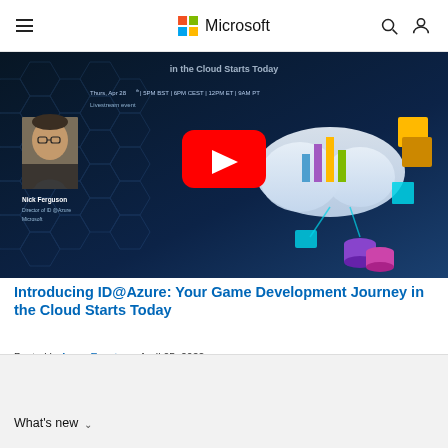Microsoft
[Figure (screenshot): YouTube video thumbnail for 'Introducing ID@Azure: Your Game Development Journey in the Cloud Starts Today' featuring Nick Ferguson, Director of ID@Azure, Microsoft. Shows event details: Thurs, Apr 28th | 5PM BST | 6PM CEST | 12PM ET | 9AM PT. Livestream event. Dark hexagonal background with cloud and tech graphics.]
Introducing ID@Azure: Your Game Development Journey in the Cloud Starts Today
Posted in Azure Events on April 05, 2022
What's new